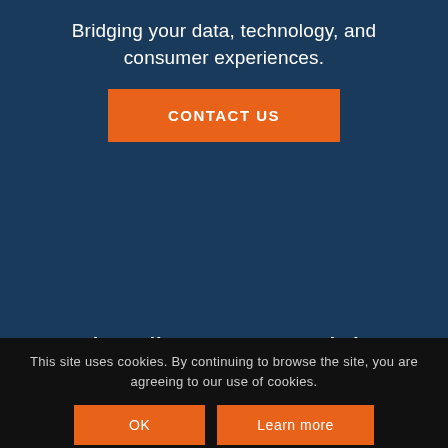Bridging your data, technology, and consumer experiences.
CONTACT US
Subscribe to Our Insights
Fresh insights to power your go-to-market® every month.
This site uses cookies. By continuing to browse the site, you are agreeing to our use of cookies.
OK
Learn more